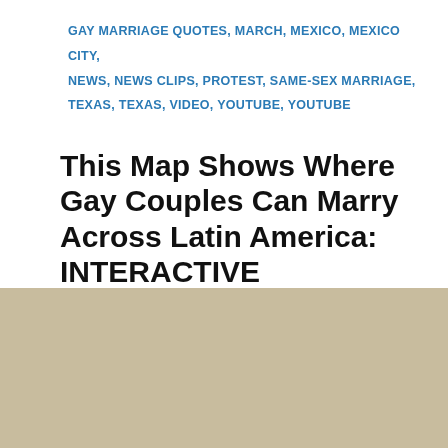GAY MARRIAGE QUOTES, MARCH, MEXICO, MEXICO CITY, NEWS, NEWS CLIPS, PROTEST, SAME-SEX MARRIAGE, TEXAS, TEXAS, VIDEO, YOUTUBE, YOUTUBE
This Map Shows Where Gay Couples Can Marry Across Latin America: INTERACTIVE
GlobalPost September 15, 2014
[Figure (photo): Indoor government chamber with large Mexican flag displayed at center, flanked by framed documents/plaques on the walls. People seated at tables in the foreground, appearing to be in a legislative session.]